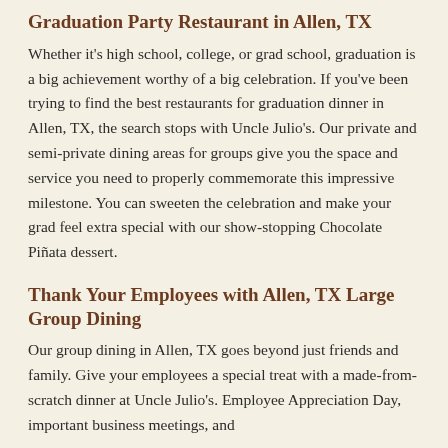Graduation Party Restaurant in Allen, TX
Whether it's high school, college, or grad school, graduation is a big achievement worthy of a big celebration. If you've been trying to find the best restaurants for graduation dinner in Allen, TX, the search stops with Uncle Julio's. Our private and semi-private dining areas for groups give you the space and service you need to properly commemorate this impressive milestone. You can sweeten the celebration and make your grad feel extra special with our show-stopping Chocolate Piñata dessert.
Thank Your Employees with Allen, TX Large Group Dining
Our group dining in Allen, TX goes beyond just friends and family. Give your employees a special treat with a made-from-scratch dinner at Uncle Julio's. Employee Appreciation Day, important business meetings, and